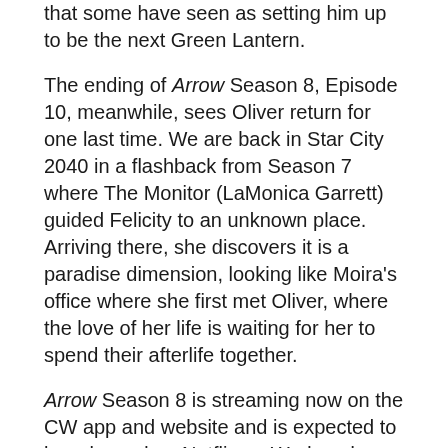that some have seen as setting him up to be the next Green Lantern.
The ending of Arrow Season 8, Episode 10, meanwhile, sees Oliver return for one last time. We are back in Star City 2040 in a flashback from Season 7 where The Monitor (LaMonica Garrett) guided Felicity to an unknown place. Arriving there, she discovers it is a paradise dimension, looking like Moira's office where she first met Oliver, where the love of her life is waiting for her to spend their afterlife together.
Arrow Season 8 is streaming now on the CW app and website and is expected to be released on Netflix on Wednesday, February 5.
Correction 1/29/2020, 8:45 a.m. ET: This article